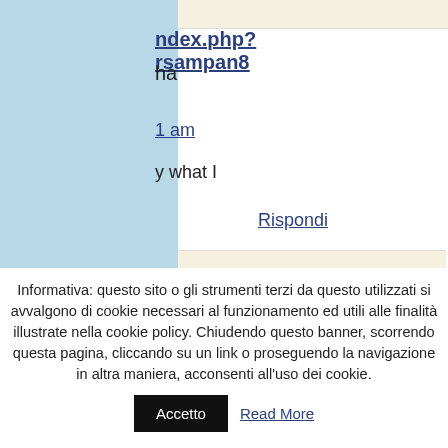[Figure (screenshot): Partial website comment section with blue sidebar and beige/white comment blocks showing a truncated commenter link 'ndex.php?rsampan8', 'ha', timestamp '1 am', comment text 'y what I', and 'Rispondi' reply link]
Informativa: questo sito o gli strumenti terzi da questo utilizzati si avvalgono di cookie necessari al funzionamento ed utili alle finalità illustrate nella cookie policy. Chiudendo questo banner, scorrendo questa pagina, cliccando su un link o proseguendo la navigazione in altra maniera, acconsenti all'uso dei cookie.
Accetto
Read More